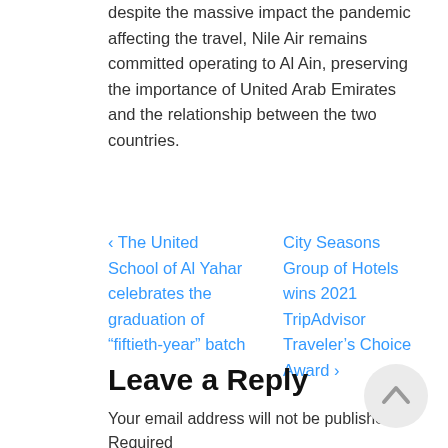despite the massive impact the pandemic affecting the travel, Nile Air remains committed operating to Al Ain, preserving the importance of United Arab Emirates and the relationship between the two countries.
‹ The United School of Al Yahar celebrates the graduation of “fiftieth-year” batch
City Seasons Group of Hotels wins 2021 TripAdvisor Traveler’s Choice Award ›
Leave a Reply
Your email address will not be published. Required